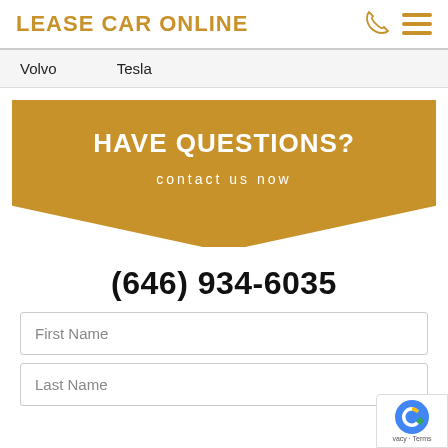LEASE CAR ONLINE
Volvo   Tesla
HAVE QUESTIONS?
contact us now
(646) 934-6035
First Name
Last Name